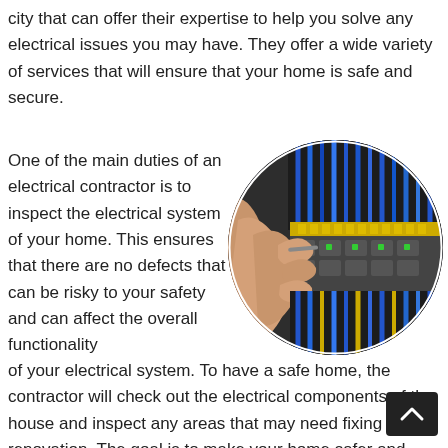city that can offer their expertise to help you solve any electrical issues you may have. They offer a wide variety of services that will ensure that your home is safe and secure.
One of the main duties of an electrical contractor is to inspect the electrical system of your home. This ensures that there are no defects that can be risky to your safety and can affect the overall functionality of your electrical system. To have a safe home, the contractor will check out the electrical components of the house and inspect any areas that may need fixing or renovation. The goal is to make your home safer and more functional.
[Figure (photo): A person's hands working on an electrical panel with colorful wires and circuit breakers, shown in a circular crop.]